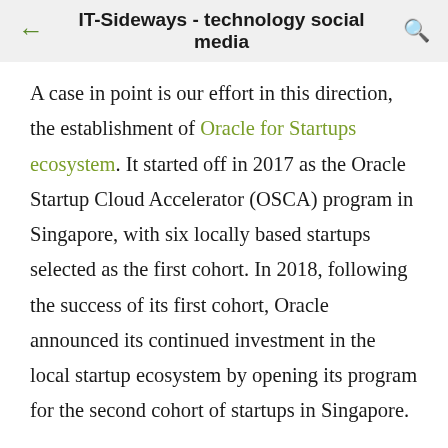IT-Sideways - technology social media
A case in point is our effort in this direction, the establishment of Oracle for Startups ecosystem. It started off in 2017 as the Oracle Startup Cloud Accelerator (OSCA) program in Singapore, with six locally based startups selected as the first cohort. In 2018, following the success of its first cohort, Oracle announced its continued investment in the local startup ecosystem by opening its program for the second cohort of startups in Singapore.
Editor's comments: